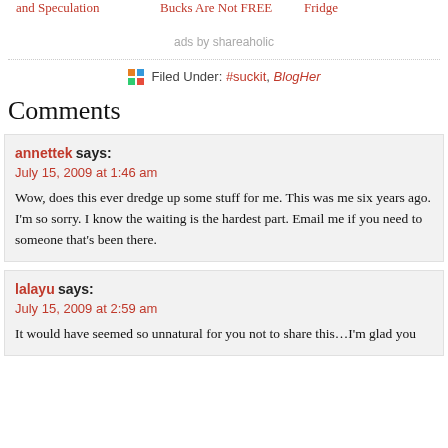and Speculation
Bucks Are Not FREE
Fridge
ads by shareaholic
Filed Under: #suckit, BlogHer
Comments
annettek says:
July 15, 2009 at 1:46 am

Wow, does this ever dredge up some stuff for me. This was me six years ago. I'm so sorry. I know the waiting is the hardest part. Email me if you need to someone that's been there.
lalayu says:
July 15, 2009 at 2:59 am

It would have seemed so unnatural for you not to share this…I'm glad you